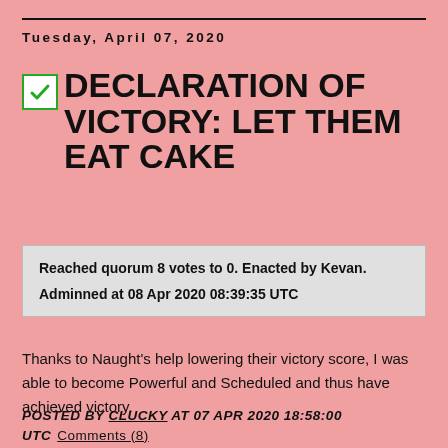Tuesday, April 07, 2020
DECLARATION OF VICTORY: LET THEM EAT CAKE
Reached quorum 8 votes to 0. Enacted by Kevan.
Adminned at 08 Apr 2020 08:39:35 UTC
Thanks to Naught's help lowering their victory score, I was able to become Powerful and Scheduled and thus have achieved victory.
POSTED BY CLUCKY AT 07 APR 2020 18:58:00 UTC  Comments (8)